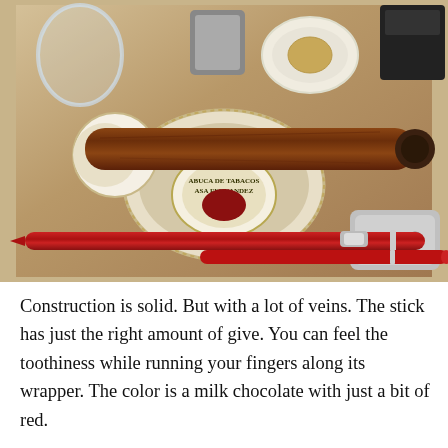[Figure (photo): A cigar resting on an ashtray labeled 'Fabrica de Tabacos Casa Fernandez', with a red pen, cigar cutter, glass, lighter and small dish visible on a table surface.]
Construction is solid. But with a lot of veins. The stick has just the right amount of give. You can feel the toothiness while running your fingers along its wrapper. The color is a milk chocolate with just a bit of red.
...